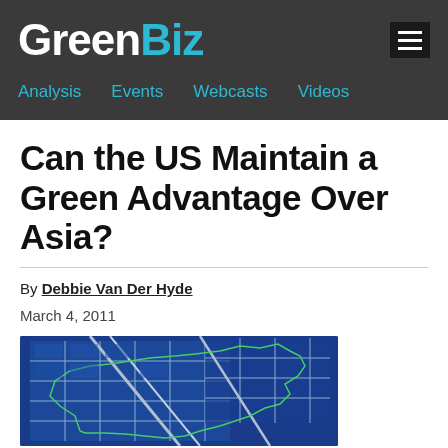GreenBiz
Analysis  Events  Webcasts  Videos
Can the US Maintain a Green Advantage Over Asia?
By Debbie Van Der Hyde
March 4, 2011
[Figure (photo): Solar panels overlaid on a map silhouette of Asia/China on a blue background, with green outline borders]